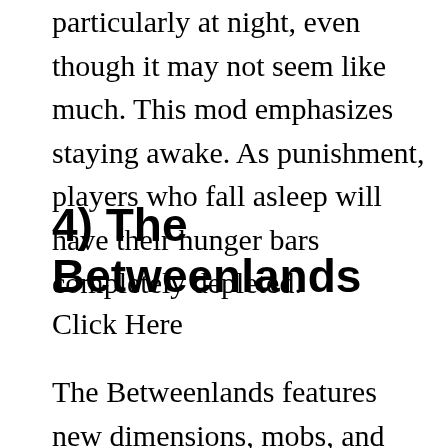particularly at night, even though it may not seem like much. This mod emphasizes staying awake. As punishment, players who fall asleep will have their hunger bars completely depleted.
4) The Betweenlands
Click Here
The Betweenlands features new dimensions, mobs, and blocks. It is one of the most ambitious Minecraft Mods...